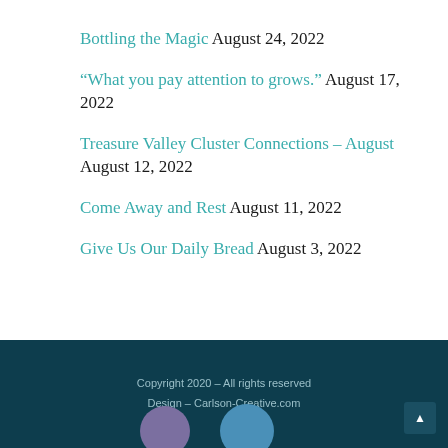Bottling the Magic August 24, 2022
“What you pay attention to grows.” August 17, 2022
Treasure Valley Cluster Connections – August August 12, 2022
Come Away and Rest August 11, 2022
Give Us Our Daily Bread August 3, 2022
Copyright 2020 – All rights reserved
Design – Carlson-Creative.com